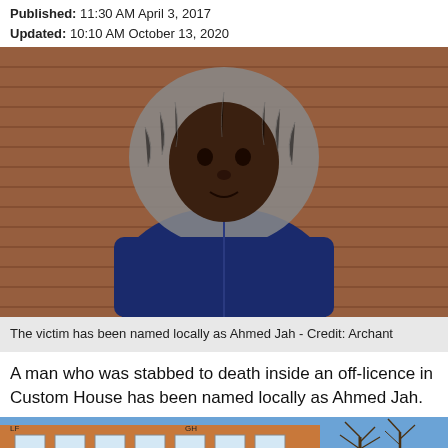Published: 11:30 AM April 3, 2017
Updated: 10:10 AM October 13, 2020
[Figure (photo): Young man wearing a blue parka jacket with fur-trimmed hood, standing against a red brick wall. The victim has been named locally as Ahmed Jah.]
The victim has been named locally as Ahmed Jah - Credit: Archant
A man who was stabbed to death inside an off-licence in Custom House has been named locally as Ahmed Jah.
[Figure (photo): Street-level photo of a building exterior with brick facade, windows, and a blue sky with bare trees visible on the right.]